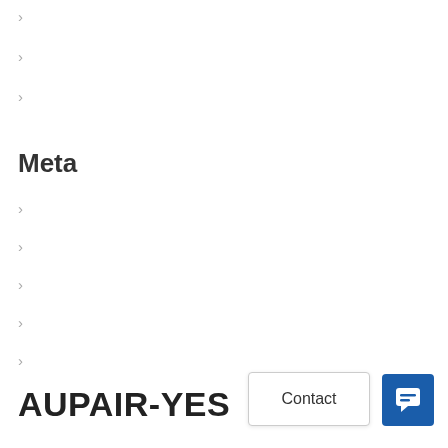>
>
>
Meta
>
>
>
>
>
AUPAIR-YES
Contact
[Figure (other): Blue chat bubble button icon]